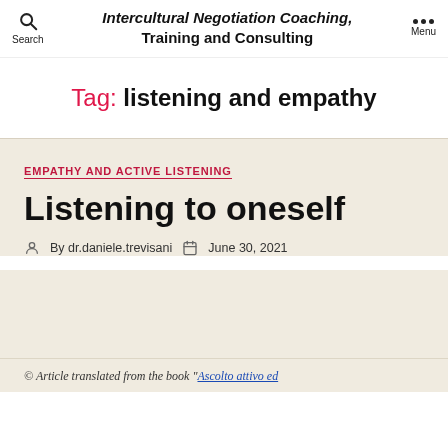Intercultural Negotiation Coaching, Training and Consulting
Tag: listening and empathy
EMPATHY AND ACTIVE LISTENING
Listening to oneself
By dr.daniele.trevisani   June 30, 2021
© Article translated from the book “Ascolto attivo ed